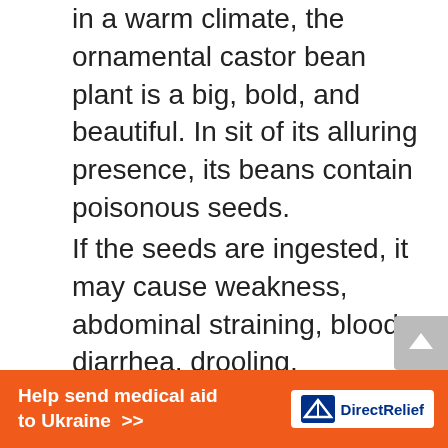in a warm climate, the ornamental castor bean plant is a big, bold, and beautiful. In sit of its alluring presence, its beans contain poisonous seeds.
If the seeds are ingested, it may cause weakness, abdominal straining, bloody diarrhea, drooling, hypotension, sudden collapse, and even death- that dangerous.
7. Chamomile
This herb is usually used in aromatherapy for soothing nerves and in relaxing. However useful to humans, it is highly
[Figure (other): Direct Relief advertisement banner: orange background with white bold text 'Help send medical aid to Ukraine >>' and Direct Relief logo on right side]